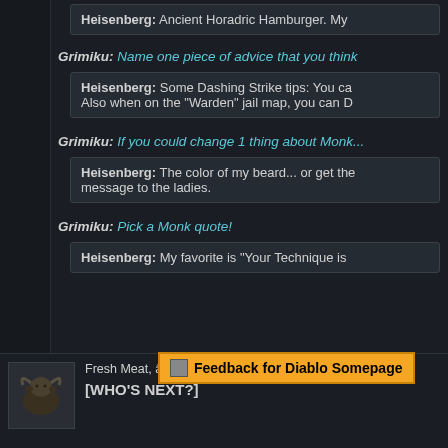Heisenberg: Ancient Horadric Hamburger. My
Grimiku: Name one piece of advice that you think
Heisenberg: Some Dashing Strike tips: You ca... Also when on the "Warden" jail map, you can D...
Grimiku: If you could change 1 thing about Monk...
Heisenberg: The color of my beard... or get the... message to the ladies.
Grimiku: Pick a Monk quote!
Heisenberg: My favorite is "Your Technique is
[Figure (screenshot): Feedback for Diablo Somepage tooltip overlay in orange]
Fresh Meat, â€˜nâ€™ Greet - Heisenberg #1113-
[WHO'S NEXT?]
[Figure (photo): Avatar image of a ram/goat animal]